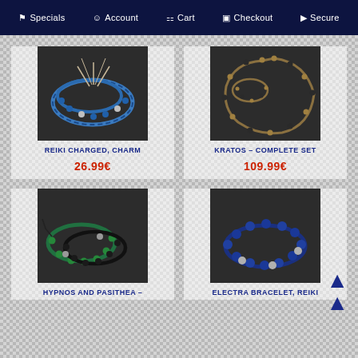Specials  Account  Cart  Checkout  Secure
[Figure (photo): Reiki charged charm bracelet with blue metallic beads on dark background]
REIKI CHARGED, CHARM
26.99€
[Figure (photo): Kratos complete set: necklace and bracelet with gold/black beads on dark background]
KRATOS – COMPLETE SET
109.99€
[Figure (photo): Hypnos and Pasithea bracelet set with green and black beads on dark background]
HYPNOS AND PASITHEA –
[Figure (photo): Electra bracelet with blue lapis lazuli and silver beads on dark background]
ELECTRA BRACELET, REIKI